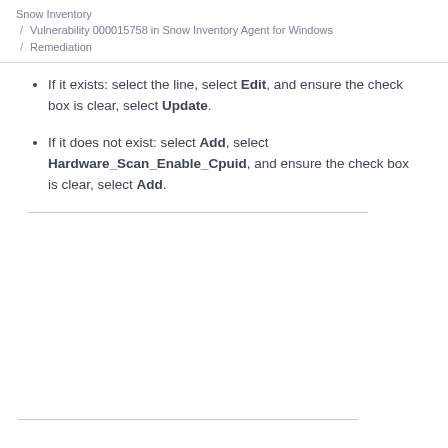Snow Inventory / Vulnerability 000015758 in Snow Inventory Agent for Windows / Remediation
If it exists: select the line, select Edit, and ensure the check box is clear, select Update.
If it does not exist: select Add, select Hardware_Scan_Enable_Cpuid, and ensure the check box is clear, select Add.